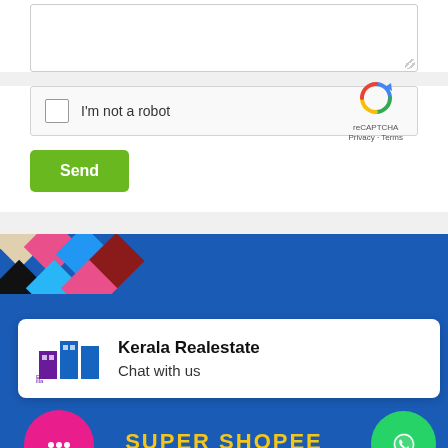[Figure (screenshot): Textarea input box (partially visible, top portion of a web form)]
[Figure (screenshot): reCAPTCHA widget with checkbox labeled 'I'm not a robot' and reCAPTCHA logo]
Send
[Figure (screenshot): Kerala Realestate chat popup widget showing logo, 'Kerala Realestate' title and 'Chat with us' subtitle, overlaid on a blue banner with 'SUPER SHOPEE' and 'First Time in India' text, pink chat bubble button, WhatsApp green button, and GetButton label]